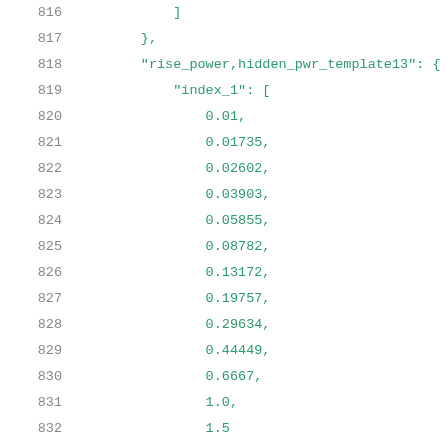816    ]
817    },
818    "rise_power,hidden_pwr_template13": {
819        "index_1": [
820            0.01,
821            0.01735,
822            0.02602,
823            0.03903,
824            0.05855,
825            0.08782,
826            0.13172,
827            0.19757,
828            0.29634,
829            0.44449,
830            0.6667,
831            1.0,
832            1.5
833        ],
834        "values": [
835            0.02003,
836            0.02166,
837            0.02165,